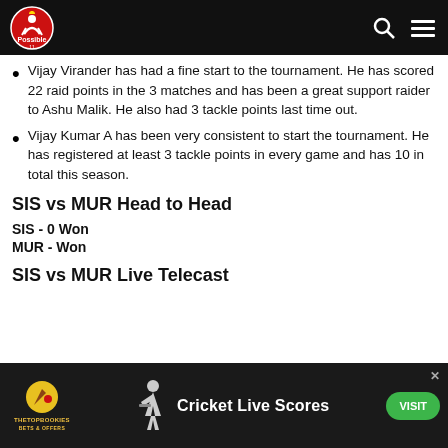Navigation bar with logo, search and menu icons
Vijay Virander has had a fine start to the tournament. He has scored 22 raid points in the 3 matches and has been a great support raider to Ashu Malik. He also had 3 tackle points last time out.
Vijay Kumar A has been very consistent to start the tournament. He has registered at least 3 tackle points in every game and has 10 in total this season.
SIS vs MUR Head to Head
SIS - 0 Won
MUR - Won
SIS vs MUR Live Telecast
[Figure (infographic): Advertisement banner for TheTopBookies Cricket Live Scores with a VISIT button]